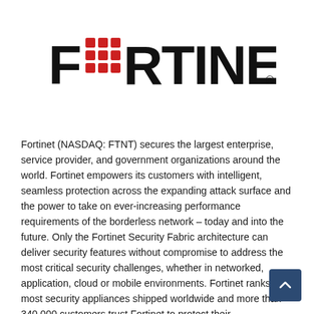[Figure (logo): Fortinet logo — bold black text 'FORTINET' with a stylized red shield/grid icon replacing the letter O, and a registered trademark symbol]
Fortinet (NASDAQ: FTNT) secures the largest enterprise, service provider, and government organizations around the world. Fortinet empowers its customers with intelligent, seamless protection across the expanding attack surface and the power to take on ever-increasing performance requirements of the borderless network – today and into the future. Only the Fortinet Security Fabric architecture can deliver security features without compromise to address the most critical security challenges, whether in networked, application, cloud or mobile environments. Fortinet ranks the most security appliances shipped worldwide and more than 340,000 customers trust Fortinet to protect their